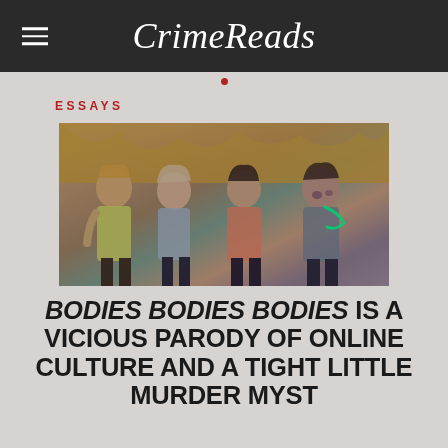CrimeReads
ESSAYS
[Figure (photo): Four young women standing together looking upward with alarmed expressions, wearing party clothes in an ornate room. Still from the film Bodies Bodies Bodies.]
BODIES BODIES BODIES IS A VICIOUS PARODY OF ONLINE CULTURE AND A TIGHT LITTLE MURDER MYSTERY